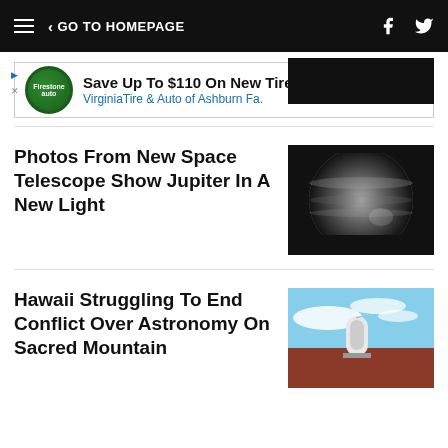< GO TO HOMEPAGE
[Figure (screenshot): Advertisement banner: Save Up To $110 On New Tires - Virginia Tire & Auto of Ashburn Fa.]
[Figure (photo): Partial dark image visible at top right]
Photos From New Space Telescope Show Jupiter In A New Light
[Figure (photo): Image of Jupiter from new space telescope showing planet against dark background]
Hawaii Struggling To End Conflict Over Astronomy On Sacred Mountain
[Figure (photo): Telescope dome against blue sky with clouds and red mountain landscape]